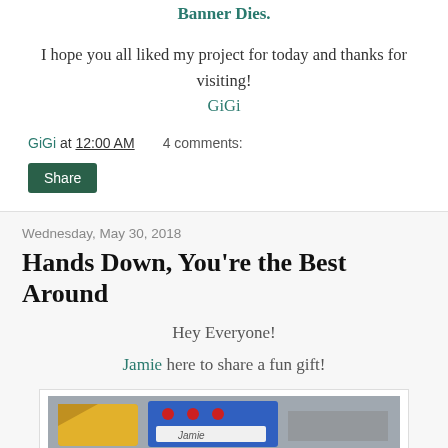Banner Dies.
I hope you all liked my project for today and thanks for visiting!
GiGi
GiGi at 12:00 AM    4 comments:
Share
Wednesday, May 30, 2018
Hands Down, You're the Best Around
Hey Everyone!
Jamie here to share a fun gift!
[Figure (photo): Photo of a handmade card or gift item on a wooden surface, partially visible at the bottom of the page.]